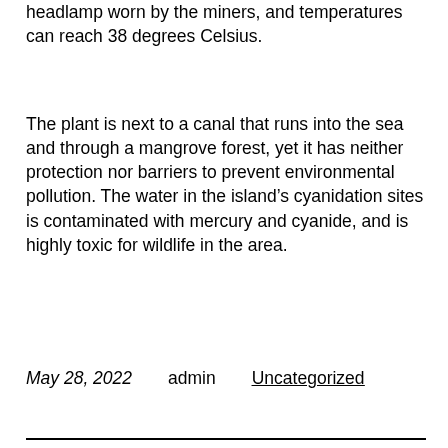headlamp worn by the miners, and temperatures can reach 38 degrees Celsius.
The plant is next to a canal that runs into the sea and through a mangrove forest, yet it has neither protection nor barriers to prevent environmental pollution. The water in the island’s cyanidation sites is contaminated with mercury and cyanide, and is highly toxic for wildlife in the area.
May 28, 2022    admin    Uncategorized